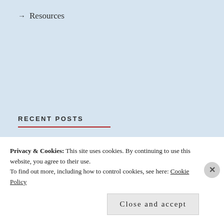→ Resources
RECENT POSTS
Oriel Windows?!? What is this Jargon!?!?!
Ogdensburg Library and the Spirit of Liberty Statue
Privacy & Cookies: This site uses cookies. By continuing to use this website, you agree to their use.
To find out more, including how to control cookies, see here: Cookie Policy
Close and accept